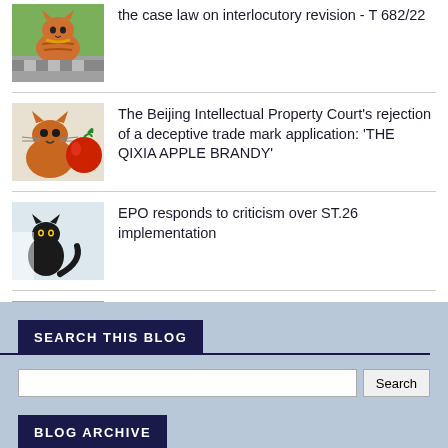the case law on interlocutory revision - T 682/22
The Beijing Intellectual Property Court's rejection of a deceptive trade mark application: 'THE QIXIA APPLE BRANDY'
EPO responds to criticism over ST.26 implementation
Member States must prevent unlawful uses of GIs also in exports, says CJEU in Feta case (C-159/20)
SEARCH THIS BLOG
BLOG ARCHIVE